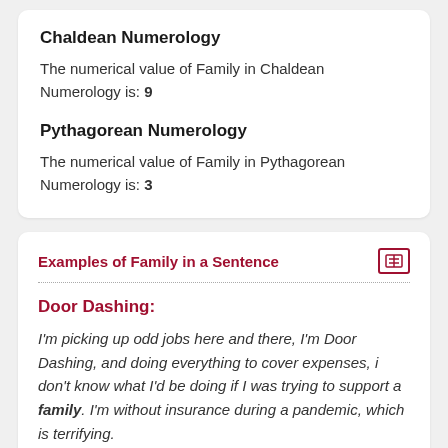Chaldean Numerology
The numerical value of Family in Chaldean Numerology is: 9
Pythagorean Numerology
The numerical value of Family in Pythagorean Numerology is: 3
Examples of Family in a Sentence
Door Dashing:
I'm picking up odd jobs here and there, I'm Door Dashing, and doing everything to cover expenses, i don't know what I'd be doing if I was trying to support a family. I'm without insurance during a pandemic, which is terrifying.
Eduardo Rodriquez: